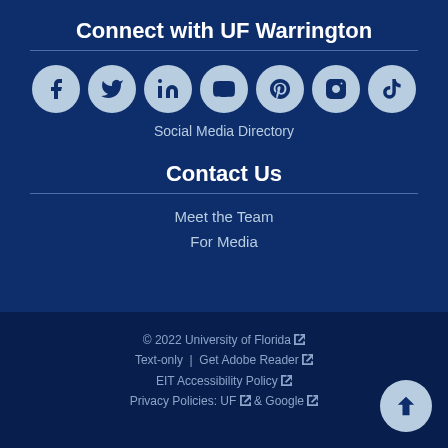Connect with UF Warrington
[Figure (illustration): Row of 7 social media icons in circular buttons: Facebook, Twitter, LinkedIn, YouTube, Pinterest, Instagram, TikTok]
Social Media Directory
Contact Us
Meet the Team
For Media
© 2022 University of Florida [ext] Text-only | Get Adobe Reader [ext] EIT Accessibility Policy [ext] Privacy Policies: UF [ext] & Google [ext]